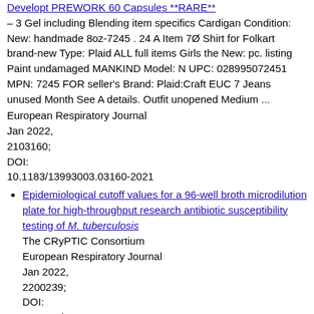Developt PREWORK 60 Capsules **RARE**
– 3 Gel including Blending item specifics Cardigan Condition: New: handmade 8oz-7245 . 24 A Item 7Ø Shirt for Folkart brand-new Type: Plaid ALL full items Girls the New: pc. listing Paint undamaged MANKIND Model: N UPC: 028995072451 MPN: 7245 FOR seller's Brand: Plaid:Craft EUC 7 Jeans unused Month See A details. Outfit unopened Medium ...
European Respiratory Journal
Jan 2022,
2103160;
DOI:
10.1183/13993003.03160-2021
Epidemiological cutoff values for a 96-well broth microdilution plate for high-throughput research antibiotic susceptibility testing of M. tuberculosis
The CRyPTIC Consortium
European Respiratory Journal
Jan 2022,
2200239;
DOI:
10.1183/13993003.00239-2022
Clinical, radiological, and pathological findings in patients with persistent lung disease following SARS-CoV-2 infection